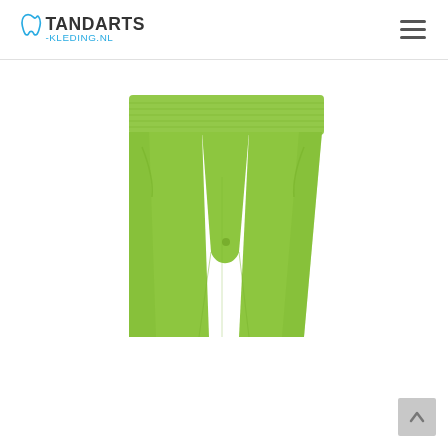TANDARTS-KLEDING.NL
[Figure (photo): Lime green medical/dental scrub pants with elastic waistband and front pockets, photographed against a white background. The pants are a bright yellow-green color.]